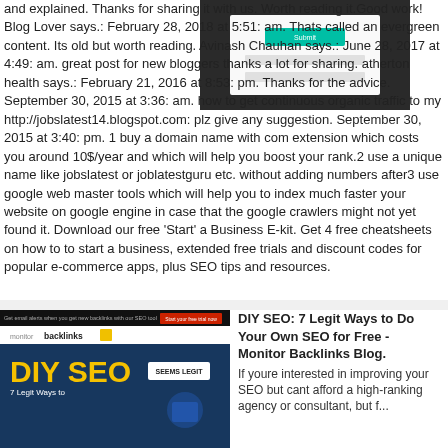[Figure (screenshot): Screenshot of a web form or signup interface with a teal/green button and input fields on dark background]
and explained. Thanks for sharing it with us. Worth reading it.Good work! Blog Lover says.: February 28, 2018 at 5:51: am. Thats called an evergreen content. Its old but worth reading. Avinash Chauhan says.: June 28, 2017 at 4:49: am. great post for new bloggers thanks a lot for sharing. atherton health says.: February 21, 2016 at 8:53: pm. Thanks for the advice. September 30, 2015 at 3:36: am. how to get continuous organic traffic to my http://jobslatest14.blogspot.com: plz give any suggestion. September 30, 2015 at 3:40: pm. 1 buy a domain name with com extension which costs you around 10$/year and which will help you boost your rank.2 use a unique name like jobslatest or joblatestguru etc. without adding numbers after3 use google web master tools which will help you to index much faster your website on google engine in case that the google crawlers might not yet found it. Download our free 'Start' a Business E-kit. Get 4 free cheatsheets on how to to start a business, extended free trials and discount codes for popular e-commerce apps, plus SEO tips and resources.
[Figure (screenshot): Screenshot of DIY SEO: 7 Legit Ways to Do Your Own SEO for Free - Monitor Backlinks Blog article page with yellow DIY SEO text on dark blue background]
DIY SEO: 7 Legit Ways to Do Your Own SEO for Free - Monitor Backlinks Blog. If youre interested in improving your SEO but cant afford a high-ranking agency or consultant, but f...